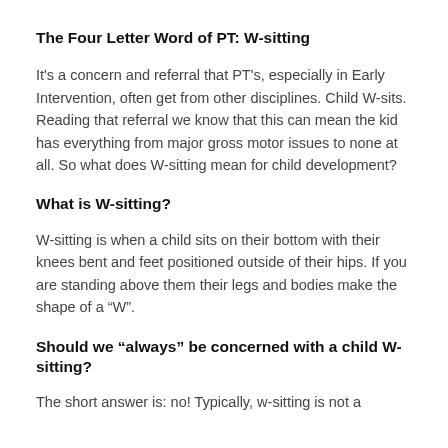The Four Letter Word of PT: W-sitting
It's a concern and referral that PT's, especially in Early Intervention, often get from other disciplines. Child W-sits. Reading that referral we know that this can mean the kid has everything from major gross motor issues to none at all. So what does W-sitting mean for child development?
What is W-sitting?
W-sitting is when a child sits on their bottom with their knees bent and feet positioned outside of their hips. If you are standing above them their legs and bodies make the shape of a “W”.
Should we “always” be concerned with a child W-sitting?
The short answer is: no! Typically, w-sitting is not a...